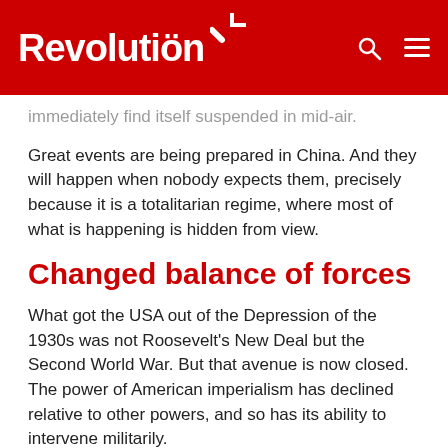Revolution
immediately find itself suspended in mid-air.
Great events are being prepared in China. And they will happen when nobody expects them, precisely because it is a totalitarian regime, where most of what is happening is hidden from view.
Changed balance of forces
What got the USA out of the Depression of the 1930s was not Roosevelt's New Deal but the Second World War. But that avenue is now closed. The power of American imperialism has declined relative to other powers, and so has its ability to intervene militarily.
The need to conquer markets and sources of raw materials forces China to be more aggressive on the world market. It has been grabbing access to resources around the world.